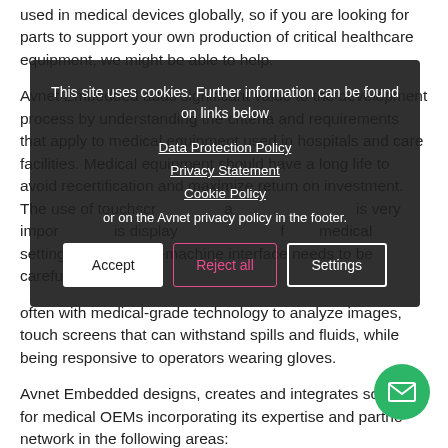used in medical devices globally, so if you are looking for parts to support your own production of critical healthcare equipment, we might be able to help.
Avnet Embedded adds significant value to the development process by understanding the criteria and requirements that apply to medical equipment used in hospitals and care facilities. Medical equipment should have a long life to avoid recertification and maximize return on investment. The use of touchscreens and advanced displays is very important, as is displayed information for in medical settings. The human-machine interface needs to be carefully designed
often with medical-grade technology to analyze images, touch screens that can withstand spills and fluids, while being responsive to operators wearing gloves.
Avnet Embedded designs, creates and integrates solutions for medical OEMs incorporating its expertise and partner network in the following areas:
[Figure (screenshot): Cookie consent overlay with dark semi-transparent background showing: 'This site uses cookies. Further information can be found on links below', links to Data Protection Policy, Privacy Statement, Cookie Policy, footer note about Avnet privacy policy, and three buttons: Accept (white), Reject all (pink outlined), Settings (white outlined)]
[Figure (other): Green circular email/contact FAB button with white envelope icon in bottom right corner]